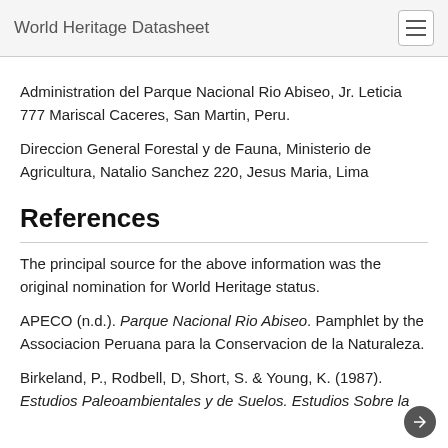World Heritage Datasheet
Administration del Parque Nacional Rio Abiseo, Jr. Leticia 777 Mariscal Caceres, San Martin, Peru.
Direccion General Forestal y de Fauna, Ministerio de Agricultura, Natalio Sanchez 220, Jesus Maria, Lima
References
The principal source for the above information was the original nomination for World Heritage status.
APECO (n.d.). Parque Nacional Rio Abiseo. Pamphlet by the Associacion Peruana para la Conservacion de la Naturaleza.
Birkeland, P., Rodbell, D, Short, S. & Young, K. (1987). Estudios Paleoambientales y de Suelos. Estudios Sobre la